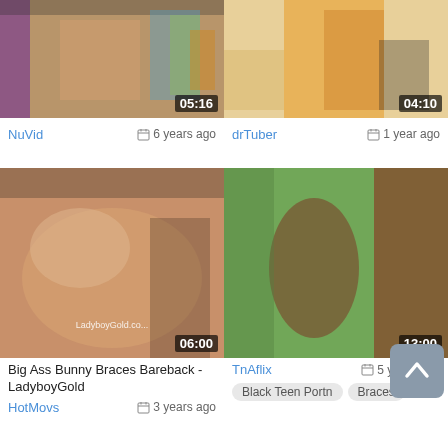[Figure (screenshot): Video thumbnail top-left, duration 05:16]
[Figure (screenshot): Video thumbnail top-right, duration 04:10]
NuVid   6 years ago
drTuber   1 year ago
[Figure (screenshot): Video thumbnail bottom-left with watermark LadyboyGold.com, duration 06:00, title Big Ass Bunny Braces Bareback - LadyboyGold]
[Figure (screenshot): Video thumbnail bottom-right, duration 13:00]
Big Ass Bunny Braces Bareback - LadyboyGold
TnAflix   5 years ago
HotMovs   3 years ago
Black Teen Portn   Braces